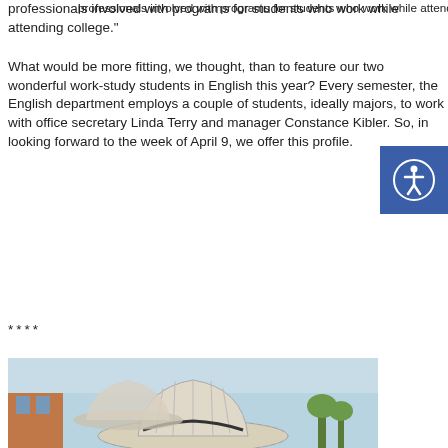professionals involved with programs for students who work while attending college."
What would be more fitting, we thought, than to feature our two wonderful work-study students in English this year? Every semester, the English department employs a couple of students, ideally majors, to work with office secretary Linda Terry and manager Constance Kibler. So, in looking forward to the week of April 9, we offer this profile.
****
[Figure (photo): A person wearing a wide-brimmed striped hat photographed outdoors with a brick building and blue sky in the background.]